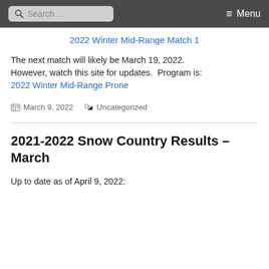Search ... Menu
2022 Winter Mid-Range Match 1
The next match will likely be March 19, 2022. However, watch this site for updates.  Program is: 2022 Winter Mid-Range Prone
March 9, 2022  Uncategorized
2021-2022 Snow Country Results – March
Up to date as of April 9, 2022: